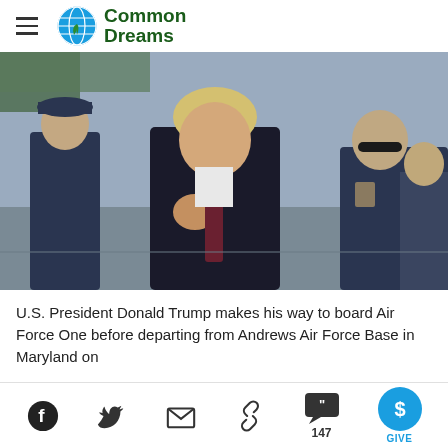Common Dreams
[Figure (photo): U.S. President Donald Trump walking on an airport tarmac flanked by military officers, with Air Force One visible in the background.]
U.S. President Donald Trump makes his way to board Air Force One before departing from Andrews Air Force Base in Maryland on
Social share icons: Facebook, Twitter, Email, Link, Comments (147), Give